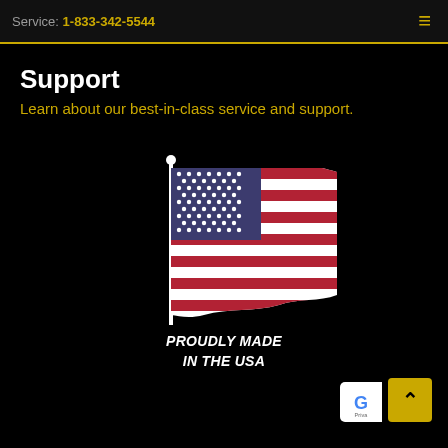Service: 1-833-342-5544
Support
Learn about our best-in-class service and support.
[Figure (illustration): American flag waving, with flagpole, rendered as an illustration. Text below reads PROUDLY MADE IN THE USA in bold italic white text.]
Scroll to top button (gold/yellow), Privacy badge